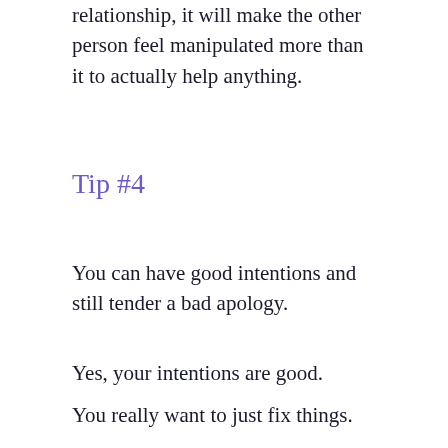apology that represents more of a quick fix than to your relationship, it will make the other person feel manipulated more than it to actually help anything.
Tip #4
You can have good intentions and still tender a bad apology.
Yes, your intentions are good.
You really want to just fix things.
You just want her to feel better, but she's not gonna feel better..
Again, because you haven't allowed her time to process what just happened.